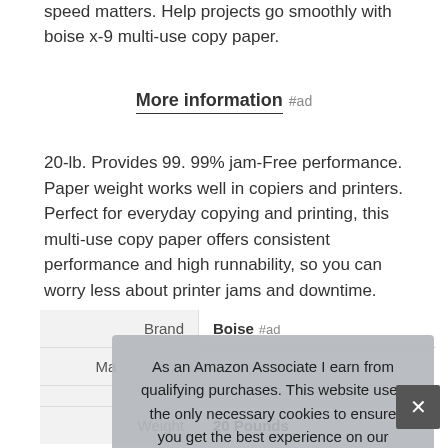speed matters. Help projects go smoothly with boise x-9 multi-use copy paper.
More information #ad
20-lb. Provides 99. 99% jam-Free performance. Paper weight works well in copiers and printers. Perfect for everyday copying and printing, this multi-use copy paper offers consistent performance and high runnability, so you can worry less about printer jams and downtime.
| Brand |  |
| --- | --- |
| Brand | Boise #ad |
| Ma... |  |
|  |  |
| Weight | 20 Pounds |
As an Amazon Associate I earn from qualifying purchases. This website uses the only necessary cookies to ensure you get the best experience on our website. More information